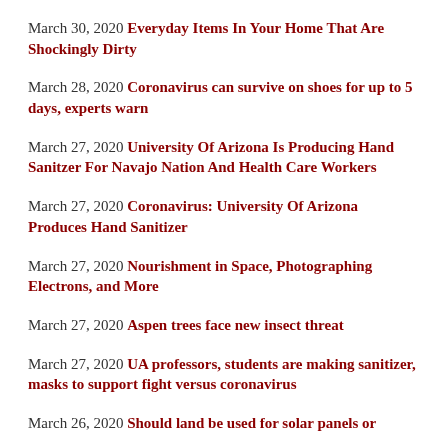March 30, 2020 Everyday Items In Your Home That Are Shockingly Dirty
March 28, 2020 Coronavirus can survive on shoes for up to 5 days, experts warn
March 27, 2020 University Of Arizona Is Producing Hand Sanitzer For Navajo Nation And Health Care Workers
March 27, 2020 Coronavirus: University Of Arizona Produces Hand Sanitizer
March 27, 2020 Nourishment in Space, Photographing Electrons, and More
March 27, 2020 Aspen trees face new insect threat
March 27, 2020 UA professors, students are making sanitizer, masks to support fight versus coronavirus
March 26, 2020 Should land be used for solar panels or